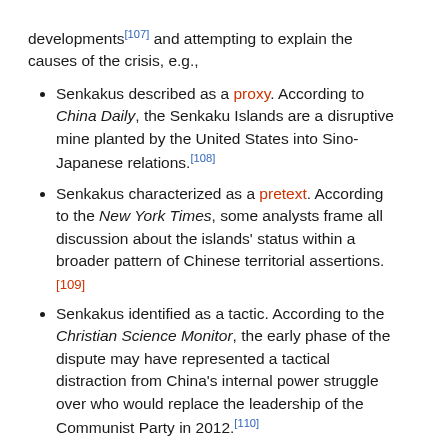developments[107] and attempting to explain the causes of the crisis, e.g.,
Senkakus described as a proxy. According to China Daily, the Senkaku Islands are a disruptive mine planted by the United States into Sino-Japanese relations.[108]
Senkakus characterized as a pretext. According to the New York Times, some analysts frame all discussion about the islands' status within a broader pattern of Chinese territorial assertions. [109]
Senkakus identified as a tactic. According to the Christian Science Monitor, the early phase of the dispute may have represented a tactical distraction from China's internal power struggle over who would replace the leadership of the Communist Party in 2012.[110]
Senkakus characterized as a lack of firm foreign policy-making control and of dysfunctional decision-making. The Economist posits that "Lacking clear direction, [Chinese] bureaucracies